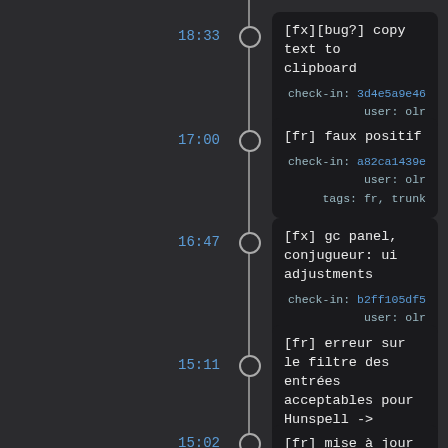18:33 [fx][bug?] copy text to clipboard
check-in: 3d4e5a9e46 user: olr
tags: fx, trunk
17:00 [fr] faux positif
check-in: a82ca1439e user: olr
tags: fr, trunk
16:47 [fx] gc panel, conjugueur: ui adjustments
check-in: b2ff105df5 user: olr
tags: fx, trunk
15:11 [fr] erreur sur le filtre des entrées acceptables pour Hunspell -> rebuild
check-in: 6ea1a49208 user: olr
tags: fr, trunk
15:02 [fr] mise à jour des